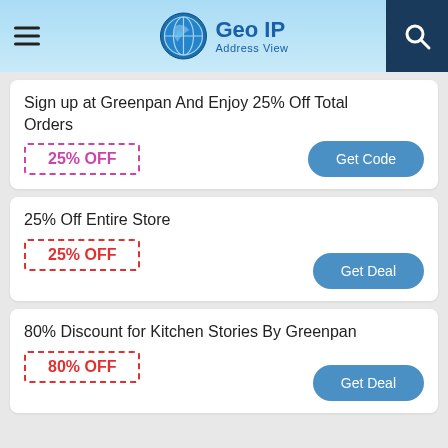Geo IP Address View
Sign up at Greenpan And Enjoy 25% Off Total Orders
25% OFF
Get Code
25% Off Entire Store
25% OFF
Get Deal
80% Discount for Kitchen Stories By Greenpan
80% OFF
Get Deal